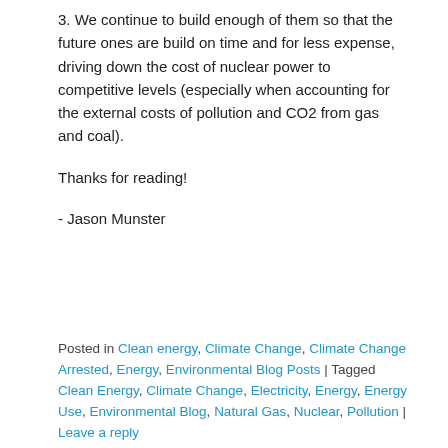3. We continue to build enough of them so that the future ones are build on time and for less expense, driving down the cost of nuclear power to competitive levels (especially when accounting for the external costs of pollution and CO2 from gas and coal).
Thanks for reading!
- Jason Munster
Posted in Clean energy, Climate Change, Climate Change Arrested, Energy, Environmental Blog Posts | Tagged Clean Energy, Climate Change, Electricity, Energy, Energy Use, Environmental Blog, Natural Gas, Nuclear, Pollution | Leave a reply